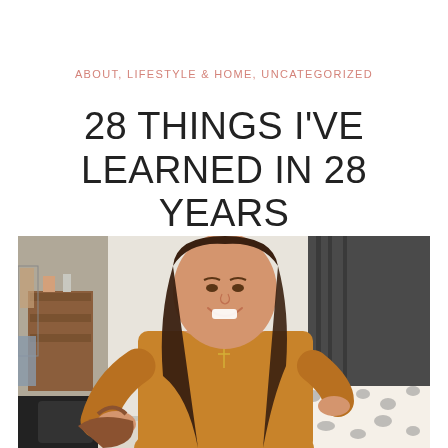ABOUT, LIFESTYLE & HOME, UNCATEGORIZED
28 THINGS I'VE LEARNED IN 28 YEARS
[Figure (photo): A smiling young woman with long dark hair wearing a mustard/camel colored long-sleeve top and a gold cross necklace, holding a brown leather handbag, standing in a bedroom with leopard print bedding, dark curtains, and a dresser with items visible in the background.]